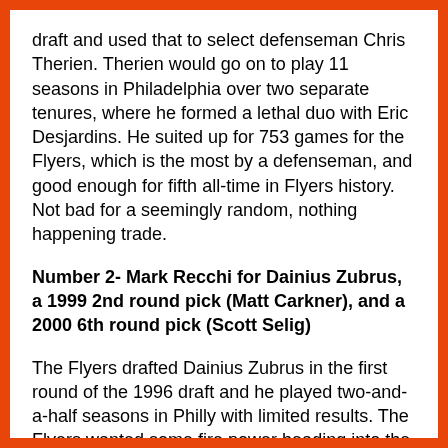draft and used that to select defenseman Chris Therien. Therien would go on to play 11 seasons in Philadelphia over two separate tenures, where he formed a lethal duo with Eric Desjardins. He suited up for 753 games for the Flyers, which is the most by a defenseman, and good enough for fifth all-time in Flyers history. Not bad for a seemingly random, nothing happening trade.
Number 2- Mark Recchi for Dainius Zubrus, a 1999 2nd round pick (Matt Carkner), and a 2000 6th round pick (Scott Selig)
The Flyers drafted Dainius Zubrus in the first round of the 1996 draft and he played two-and-a-half seasons in Philly with limited results. The Flyers wanted some fire power heading into the 1999 playoffs, and a reunion with Mark Recchi was in the cards. On March 10, 1999, almost exactly four years